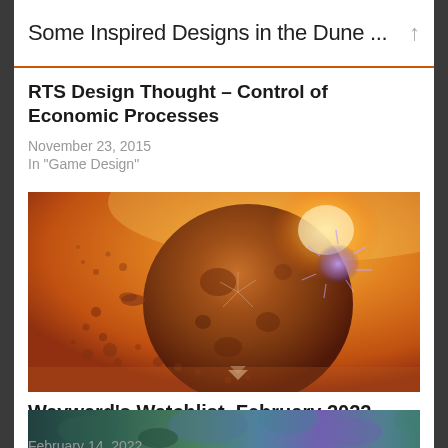Some Inspired Designs in the Dune ...
RTS Design Thought – Control of Economic Processes
November 23, 2015
In "Game Design"
[Figure (illustration): Sci-fi planet or asteroid with glowing light source, set against an orange atmospheric background. A small arrow/chevron icon is visible at the bottom center.]
Wayward's Watchlist, February 2022
February 14, 2022
In "Games"
[Figure (photo): Partial bottom strip showing colorful game imagery in teal, green, and purple tones.]